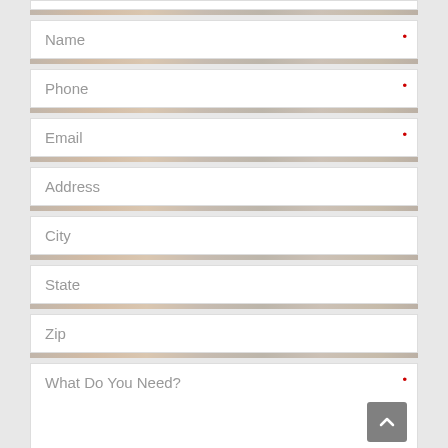Name *
Phone *
Email *
Address
City
State
Zip
What Do You Need? *